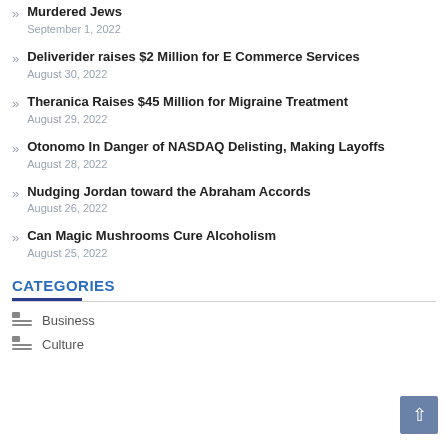Murdered Jews
September 1, 2022
Deliverider raises $2 Million for E Commerce Services
August 30, 2022
Theranica Raises $45 Million for Migraine Treatment
August 29, 2022
Otonomo In Danger of NASDAQ Delisting, Making Layoffs
August 28, 2022
Nudging Jordan toward the Abraham Accords
August 26, 2022
Can Magic Mushrooms Cure Alcoholism
August 25, 2022
CATEGORIES
Business
Culture